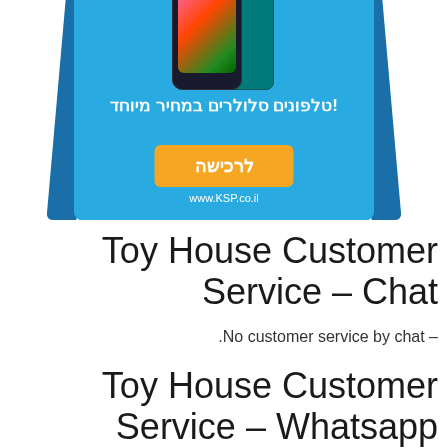[Figure (infographic): Advertisement banner for KSP.co.il featuring two LG smartphones on a blue background with Hebrew text 'טלפונים סלולרים במחיר מיוחד!' (Cell phones at a special price!), an orange 'לרכישה' (purchase) button, and the URL www.KSP.co.il]
Toy House Customer Service – Chat
.No customer service by chat –
Toy House Customer Service – Whatsapp